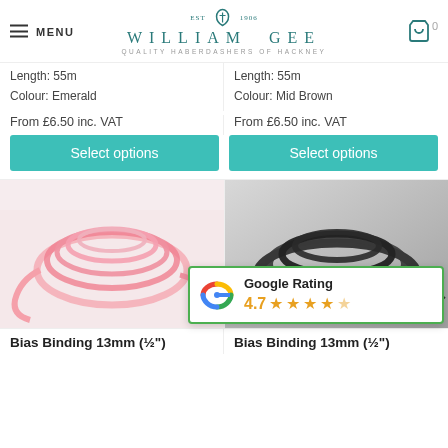MENU | WILLIAM GEE | QUALITY HABERDASHERS OF HACKNEY
Length: 55m
Colour: Emerald
Length: 55m
Colour: Mid Brown
From £6.50 inc. VAT
From £6.50 inc. VAT
Select options
Select options
[Figure (photo): Pink bias binding tape coiled on white background]
[Figure (photo): Black bias binding tape coiled on grey background]
[Figure (infographic): Google Rating widget showing 4.7 stars]
Bias Binding 13mm (½")
Bias Binding 13mm (½")